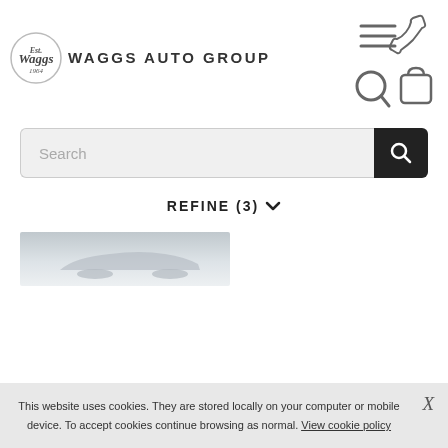[Figure (logo): Waggs Auto Group logo with circular script badge and uppercase brand name text]
[Figure (screenshot): Header navigation icons: hamburger menu, phone, search, bag/cart]
Search
REFINE (3)
[Figure (photo): Partial car image on snowy/grey background]
This website uses cookies. They are stored locally on your computer or mobile device. To accept cookies continue browsing as normal. View cookie policy